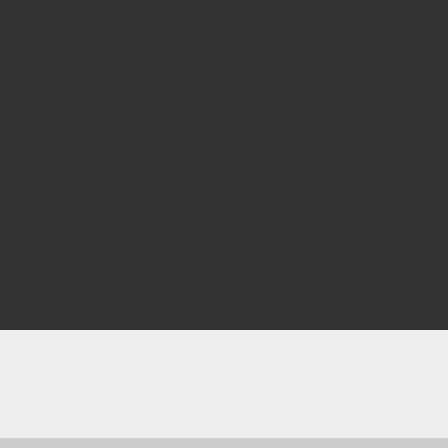[Figure (photo): Dark/black thumbnail image area]
Solo ebony shemale spunks
👁 1